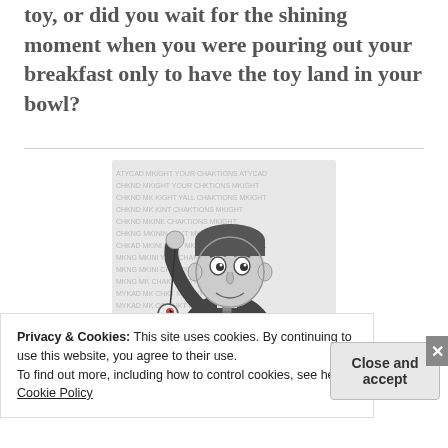toy, or did you wait for the shining moment when you were pouring out your breakfast only to have the toy land in your bowl?
[Figure (illustration): Cartoon illustration of a man in a dark suit holding a dangling eyeball on a string, set against a background of repeated watermark-like text. The character is drawn in a comic book style, black and white/grayscale.]
Privacy & Cookies: This site uses cookies. By continuing to use this website, you agree to their use.
To find out more, including how to control cookies, see here: Cookie Policy
Close and accept